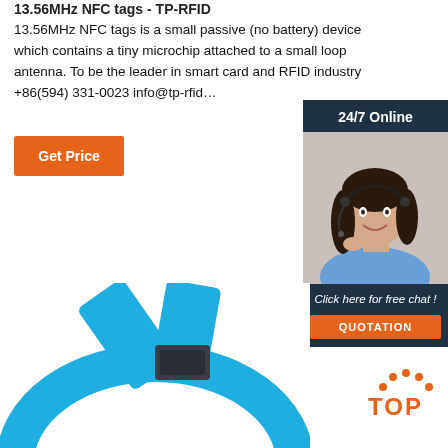13.56MHz NFC tags - TP-RFID
13.56MHz NFC tags is a small passive (no battery) device which contains a tiny microchip attached to a small loop antenna. To be the leader in smart card and RFID industry +86(594) 331-0023 info@tp-rfid…
Get Price
[Figure (photo): Customer service representative woman with headset, smiling, with '24/7 Online' header, 'Click here for free chat!' message, and orange QUOTATION button]
[Figure (photo): Blue NFC wristband/tag product photo with a dark chip/clip shown on the band]
[Figure (logo): TOP icon with orange dots arranged in an arc above the word TOP in orange]